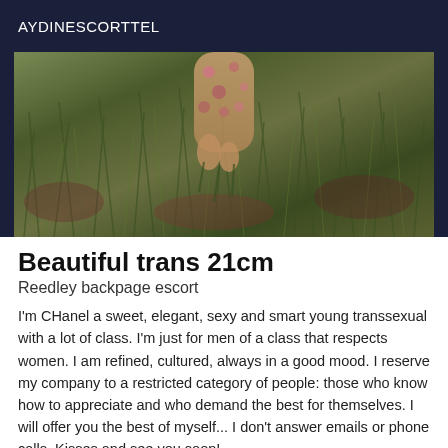AYDINESCORTTEL
[Figure (photo): Outdoor photo showing grass and vegetation with a person's arm/hand visible, wearing a floral-patterned sleeve]
Beautiful trans 21cm
Reedley backpage escort
I'm CHanel a sweet, elegant, sexy and smart young transsexual with a lot of class. I'm just for men of a class that respects women. I am refined, cultured, always in a good mood. I reserve my company to a restricted category of people: those who know how to appreciate and who demand the best for themselves. I will offer you the best of myself... I don't answer emails or phone calls. Kisses and see you soon!